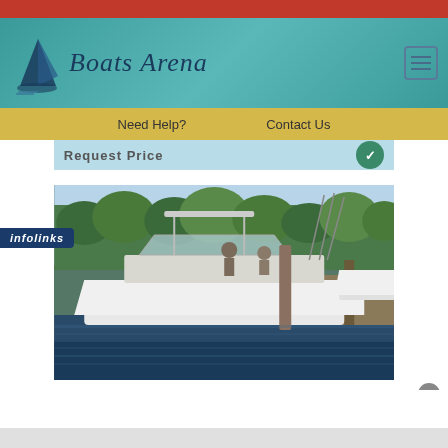Boats Arena
Need Help?   Contact Us
Request Price
[Figure (photo): A white boat docked at a marina with fishing rods visible, trees in the background, and another boat nearby. People visible on the dock.]
infolinks